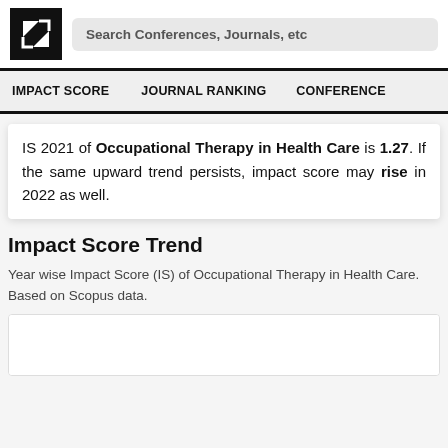Search Conferences, Journals, etc
IMPACT SCORE   JOURNAL RANKING   CONFERENCE
IS 2021 of Occupational Therapy in Health Care is 1.27. If the same upward trend persists, impact score may rise in 2022 as well.
Impact Score Trend
Year wise Impact Score (IS) of Occupational Therapy in Health Care. Based on Scopus data.
[Figure (other): Chart area at bottom of page, partially visible]